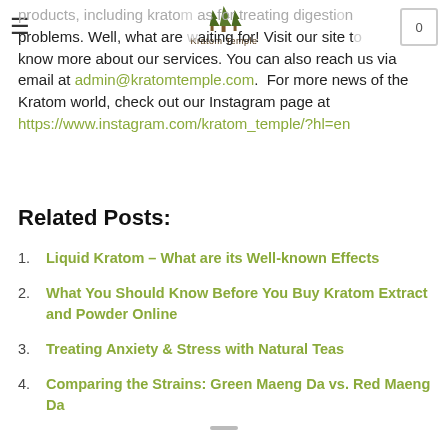Kratom Temple
products, including kratom as for treating digestive problems. Well, what are waiting for! Visit our site to know more about our services. You can also reach us via email at admin@kratomtemple.com. For more news of the Kratom world, check out our Instagram page at https://www.instagram.com/kratom_temple/?hl=en
Related Posts:
Liquid Kratom – What are its Well-known Effects
What You Should Know Before You Buy Kratom Extract and Powder Online
Treating Anxiety & Stress with Natural Teas
Comparing the Strains: Green Maeng Da vs. Red Maeng Da